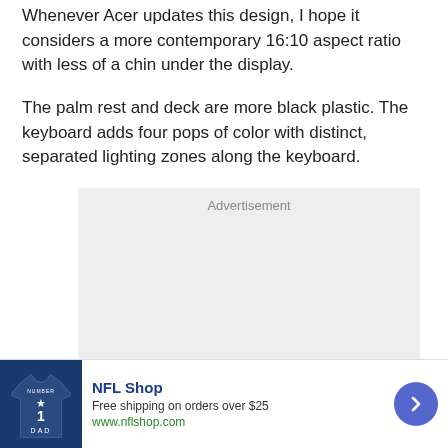Whenever Acer updates this design, I hope it considers a more contemporary 16:10 aspect ratio with less of a chin under the display.
The palm rest and deck are more black plastic. The keyboard adds four pops of color with distinct, separated lighting zones along the keyboard.
[Figure (other): Advertisement placeholder box with gray background, labeled 'Advertisement' at the top]
[Figure (other): NFL Shop advertisement banner: shows a Dallas Cowboys jersey with number 1 and 'DAD' text on dark navy background, text reads 'NFL Shop', 'Free shipping on orders over $25', 'www.nflshop.com', with a blue circular arrow button on the right]